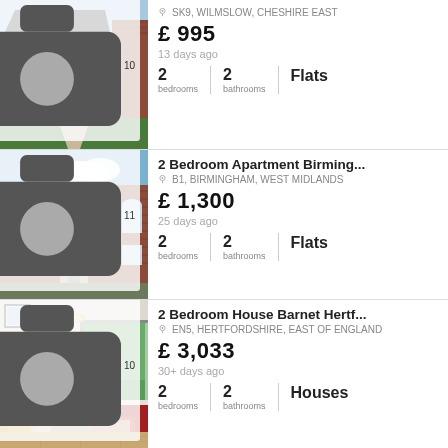[Figure (photo): Brick terraced house exterior with bay window and front garden]
SK9, WILMSLOW, CHESHIRE EAST
£ 995
13 days ago
2 bedrooms | 2 bathrooms | Flats
[Figure (photo): Large brick apartment building exterior with arched windows]
2 Bedroom Apartment Birming...
B1, BIRMINGHAM, WEST MIDLANDS
£ 1,300
25 days ago
2 bedrooms | 2 bathrooms | Flats
[Figure (photo): Modern living room interior with sofa and garden view]
2 Bedroom House Barnet Hertf...
EN5, HERTFORDSHIRE, EAST OF ENGLAND
£ 3,033
30+ days ago
2 bedrooms | 2 bathrooms | Houses